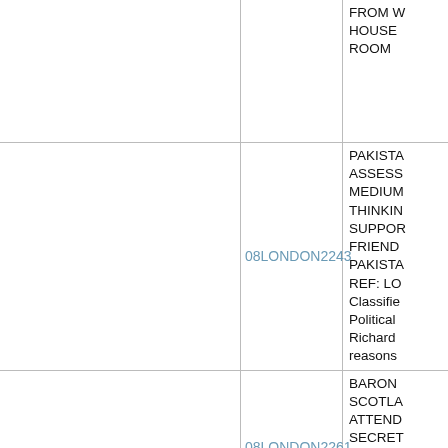| (col1) | (col2) | (col3) |
| --- | --- | --- |
|  |  | FROM W
HOUSE
ROOM |
|  | 08LONDON2243 | PAKISTA
ASSESS
MEDIUM
THINKIN
SUPPOR
FRIEND
PAKISTA
REF: LO
Classifie
Political
Richard
reasons |
|  | 08LONDON2261 | BARON
SCOTLA
ATTEND
SECRET
WOMEN
WORKIN
BUT HAS
QUESTI |